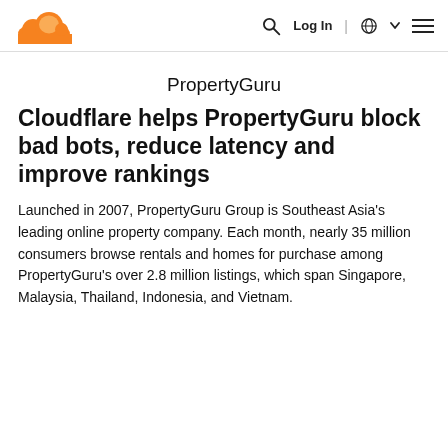Cloudflare logo | Search | Log In | Globe | Menu
PropertyGuru
Cloudflare helps PropertyGuru block bad bots, reduce latency and improve rankings
Launched in 2007, PropertyGuru Group is Southeast Asia's leading online property company. Each month, nearly 35 million consumers browse rentals and homes for purchase among PropertyGuru's over 2.8 million listings, which span Singapore, Malaysia, Thailand, Indonesia, and Vietnam.